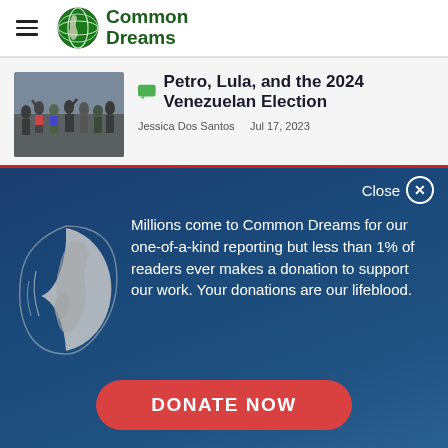Common Dreams
Petro, Lula, and the 2024 Venezuelan Election
Jessica Dos Santos   Jul 17, 2023
Millions come to Common Dreams for our one-of-a-kind reporting but less than 1% of readers ever makes a donation to support our work. Your donations are our lifeblood.
DONATE NOW